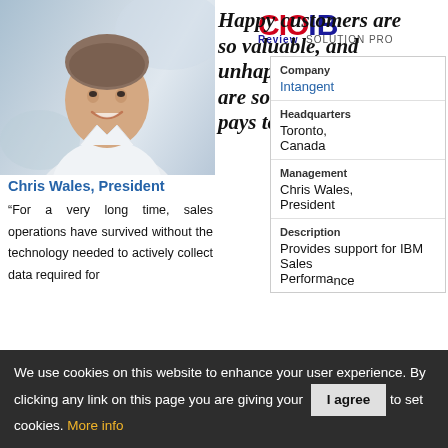CIO IB Review SOLUTION PRO
[Figure (photo): Portrait photo of Chris Wales, a man in a white shirt smiling at the camera, with a light blue/grey blurred background]
Happy customers are so valuable, and unhappy customers are so costly, that it pays to
Chris Wales, President
“For a very long time, sales operations have survived without the technology needed to actively collect data required for
| Company | Intangent |
| Headquarters | Toronto, Canada |
| Management | Chris Wales, President |
| Description | Provides support for IBM Sales Performance |
We use cookies on this website to enhance your user experience. By clicking any link on this page you are giving your consent to set cookies. More info